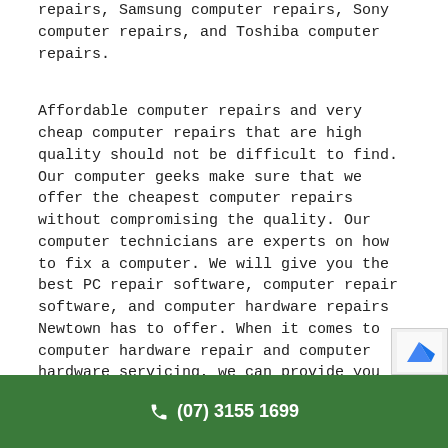repairs, Samsung computer repairs, Sony computer repairs, and Toshiba computer repairs.
Affordable computer repairs and very cheap computer repairs that are high quality should not be difficult to find. Our computer geeks make sure that we offer the cheapest computer repairs without compromising the quality. Our computer technicians are experts on how to fix a computer. We will give you the best PC repair software, computer repair software, and computer hardware repairs Newtown has to offer. When it comes to computer hardware repair and computer hardware servicing, we can provide you with everything from computer screen repair near me to hard drive repair. We will repair your computer in no time!
(07) 3155 1699